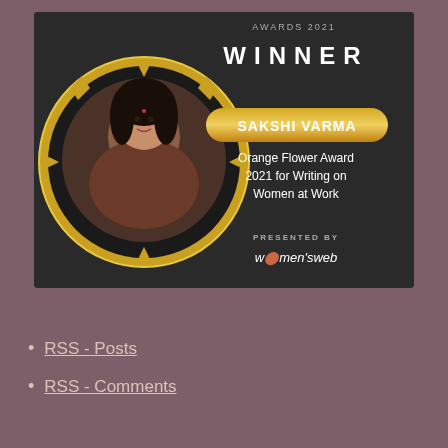[Figure (photo): Award winner announcement graphic for Sakshi Varma. Dark circular badge with gold ring/border showing a photo of a woman smiling. Text reads: WINNER, SAKSHI VARMA, Orange Flower Award 2021 for Writing on Women at Work, PRESENTED BY women's web.]
RSS - Posts
RSS - Comments